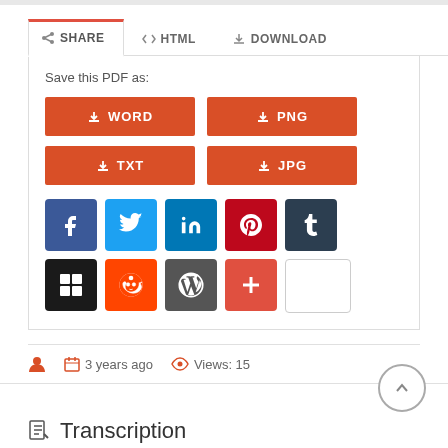[Figure (screenshot): UI panel with SHARE/HTML/DOWNLOAD tabs, download buttons for WORD, PNG, TXT, JPG, and social media share icons including Facebook, Twitter, LinkedIn, Pinterest, Tumblr, Google+, Reddit, WordPress, and a plus button]
Save this PDF as:
3 years ago   Views: 15
Transcription